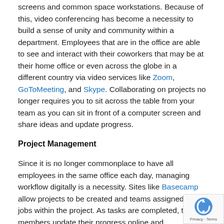screens and common space workstations. Because of this, video conferencing has become a necessity to build a sense of unity and community within a department. Employees that are in the office are able to see and interact with their coworkers that may be at their home office or even across the globe in a different country via video services like Zoom, GoToMeeting, and Skype. Collaborating on projects no longer requires you to sit across the table from your team as you can sit in front of a computer screen and share ideas and update progress.
Project Management
Since it is no longer commonplace to have all employees in the same office each day, managing workflow digitally is a necessity. Sites like Basecamp allow projects to be created and teams assigned to jobs within the project. As tasks are completed, team members update their progress online and